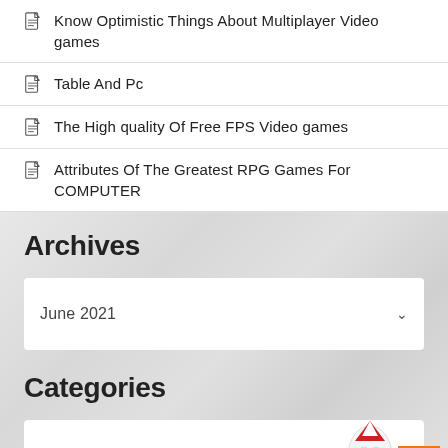Know Optimistic Things About Multiplayer Video games
Table And Pc
The High quality Of Free FPS Video games
Attributes Of The Greatest RPG Games For COMPUTER
Archives
June 2021
Categories
Select Category